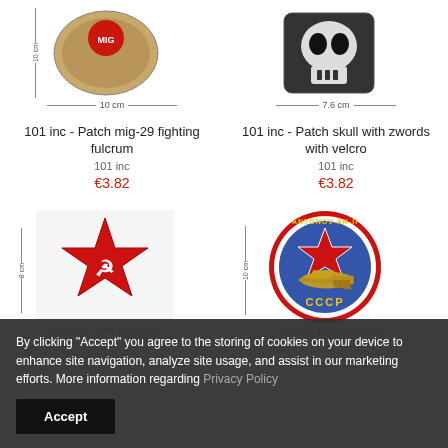[Figure (photo): Patch mig-29 fighting fulcrum product image with ruler showing 10 cm]
101 inc - Patch mig-29 fighting fulcrum
101 inc
€3.82
[Figure (photo): Patch skull with zwords with velcro product image with ruler showing 7.6 cm]
101 inc - Patch skull with zwords with velcro
101 inc
€3.82
[Figure (photo): Red star hammer and sickle patch, with rulers showing 6 cm height and 6 cm width]
[Figure (photo): Antonov-AN-II CCCP circular patch with airplane and red star, with rulers showing 10 cm height and 10 cm width]
By clicking "Accept" you agree to the storing of cookies on your device to enhance site navigation, analyze site usage, and assist in our marketing efforts. More information regarding Privacy Policy
Accept